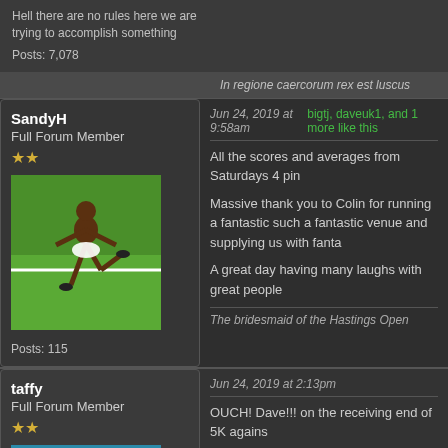Hell there are no rules here we are trying to accomplish something
Posts: 7,078
In regione caercorum rex est luscus
SandyH
Full Forum Member
★★
Posts: 115
Jun 24, 2019 at 9:58am   bigtj, daveuk1, and 1 more like this
All the scores and averages from Saturdays 4 pin
Massive thank you to Colin for running a fantastic such a fantastic venue and supplying us with fanta
A great day having many laughs with great people
The bridesmaid of the Hastings Open
taffy
Full Forum Member
★★
Jun 24, 2019 at 2:13pm
OUCH! Dave!!! on the receiving end of 5K agains
Taffy